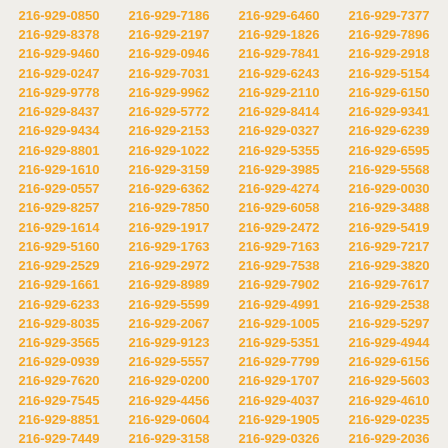216-929-0850 216-929-7186 216-929-6460 216-929-7377 216-929-8378 216-929-2197 216-929-1826 216-929-7896 216-929-9460 216-929-0946 216-929-7841 216-929-2918 216-929-0247 216-929-7031 216-929-6243 216-929-5154 216-929-9778 216-929-9962 216-929-2110 216-929-6150 216-929-8437 216-929-5772 216-929-8414 216-929-9341 216-929-9434 216-929-2153 216-929-0327 216-929-6239 216-929-8801 216-929-1022 216-929-5355 216-929-6595 216-929-1610 216-929-3159 216-929-3985 216-929-5568 216-929-0557 216-929-6362 216-929-4274 216-929-0030 216-929-8257 216-929-7850 216-929-6058 216-929-3488 216-929-1614 216-929-1917 216-929-2472 216-929-5419 216-929-5160 216-929-1763 216-929-7163 216-929-7217 216-929-2529 216-929-2972 216-929-7538 216-929-3820 216-929-1661 216-929-8989 216-929-7902 216-929-7617 216-929-6233 216-929-5599 216-929-4991 216-929-2538 216-929-8035 216-929-2067 216-929-1005 216-929-5297 216-929-3565 216-929-9123 216-929-5351 216-929-4944 216-929-0939 216-929-5557 216-929-7799 216-929-6156 216-929-7620 216-929-0200 216-929-1707 216-929-5603 216-929-7545 216-929-4456 216-929-4037 216-929-4610 216-929-8851 216-929-0604 216-929-1905 216-929-0235 216-929-7449 216-929-3158 216-929-0326 216-929-2036 216-929-3014 216-929-5061 216-929-1859 216-929-5607 216-929-3380 216-929-2380 216-929-4291 216-929-8963 216-929-3396 216-929-2708 216-929-2609 216-929-1269 216-929-0130 216-929-5189 216-929-7561 216-929-8907 216-929-4648 216-929-7618 216-929-5239 216-929-7250 216-929-0614 216-929-3793 216-929-3790 216-929-3766 216-929-8215 216-929-9789 216-929-8019 216-929-7695